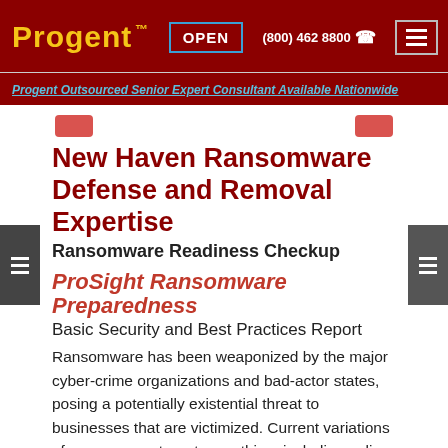Progent™  OPEN  (800) 462 8800  ☎
Progent Outsourced Senior Expert Consultant Available Nationwide
New Haven Ransomware Defense and Removal Expertise
Ransomware Readiness Checkup
ProSight Ransomware Preparedness
Basic Security and Best Practices Report
Ransomware has been weaponized by the major cyber-crime organizations and bad-actor states, posing a potentially existential threat to businesses that are victimized. Current variations of ransomware target everything, including online backup, making even partial restoration a complex and expensive process. New variations of ransomware such as Ryuk, Maze, Sodinokibi